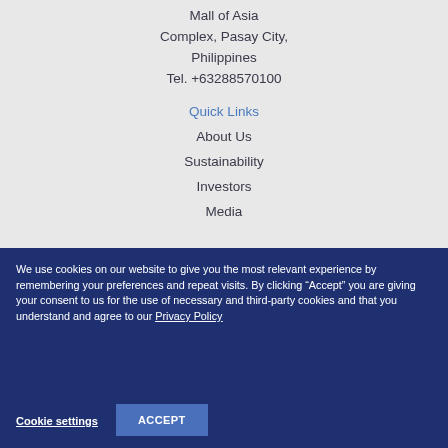Mall of Asia Complex, Pasay City, Philippines Tel. +63288570100
Quick Links
About Us
Sustainability
Investors
Media
We use cookies on our website to give you the most relevant experience by remembering your preferences and repeat visits. By clicking “Accept” you are giving your consent to us for the use of necessary and third-party cookies and that you understand and agree to our Privacy Policy
Cookie settings
ACCEPT